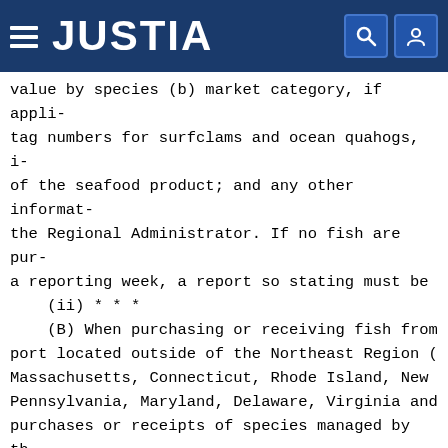JUSTIA
value by species (b) market category, if appli- tag numbers for surfclams and ocean quahogs, i- of the seafood product; and any other informat- the Regional Administrator. If no fish are pur- a reporting week, a report so stating must be (ii) * * * (B) When purchasing or receiving fish from port located outside of the Northeast Region ( Massachusetts, Connecticut, Rhode Island, New Pennsylvania, Maryland, Delaware, Virginia and purchases or receipts of species managed by th- this part (American lobster or Jonah crab), an- chapter, must be reported. Other reporting rec- those species not managed by the Greater Atlan- affected by this paragraph (n); and * * * * * (2) System requirements. All persons requi-